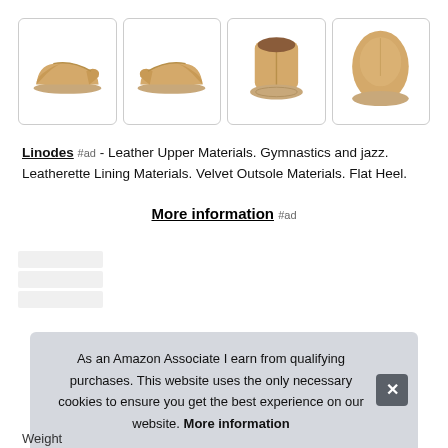[Figure (photo): Four product images of tan/camel colored jazz dance shoes: left side view, right side view, back/bottom view, and front toe view, each in a rounded-corner bordered box.]
Linodes #ad - Leather Upper Materials. Gymnastics and jazz. Leatherette Lining Materials. Velvet Outsole Materials. Flat Heel.
More information #ad
As an Amazon Associate I earn from qualifying purchases. This website uses the only necessary cookies to ensure you get the best experience on our website. More information